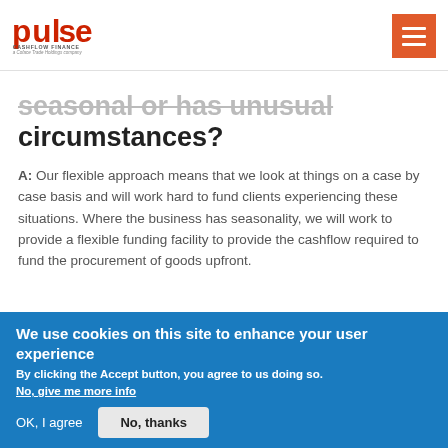Pulse Cashflow Finance logo and navigation menu
seasonal or has unusual circumstances?
A: Our flexible approach means that we look at things on a case by case basis and will work hard to fund clients experiencing these situations. Where the business has seasonality, we will work to provide a flexible funding facility to provide the cashflow required to fund the procurement of goods upfront.
We use cookies on this site to enhance your user experience
By clicking the Accept button, you agree to us doing so.
No, give me more info
OK, I agree
No, thanks